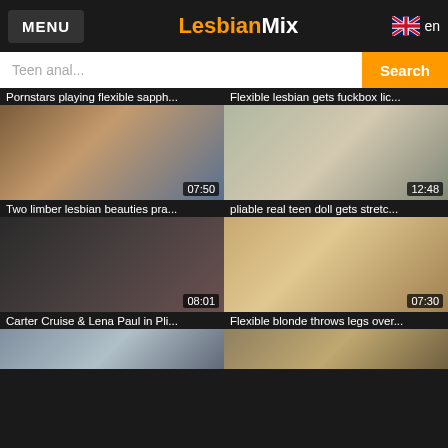MENU | LesbianMix | en
Teen anal... [Search]
Pornstars playing flexible sapph...
[Figure (photo): Video thumbnail with duration 07:50]
Flexible lesbian gets fuckbox lic...
[Figure (photo): Video thumbnail with duration 12:48]
Two limber lesbian beauties pra...
pliable real teen doll gets stretc...
Carter Cruise & Lena Paul in Pli...
[Figure (photo): Video thumbnail with duration 08:01]
Flexible blonde throws legs over...
[Figure (photo): Video thumbnail with duration 07:30]